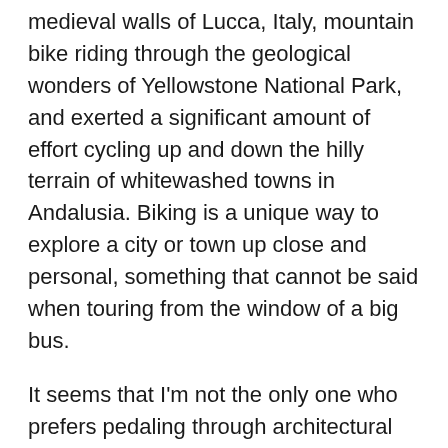medieval walls of Lucca, Italy, mountain bike riding through the geological wonders of Yellowstone National Park, and exerted a significant amount of effort cycling up and down the hilly terrain of whitewashed towns in Andalusia. Biking is a unique way to explore a city or town up close and personal, something that cannot be said when touring from the window of a big bus.
It seems that I'm not the only one who prefers pedaling through architectural treasures, historical landscapes and spectacular scenery.  Crystal Cruises has recently announced that they have added 16 bicycle Crystal Adventures in 2014 to their Northern and Western Europe trips, as well as their Mediterranean itineraries.
Crystal's bicycle adventures vary in length and intensity, yet all promise an exceptional ride. For example… there's a five-mile ride through the city of Barcelona and another of the same distance through a forest in Copenhagen. Guests may choose a nine-mile combination of flat and hilly roads as they cycle past the beautiful chateaus and vineyards of Bordeaux. Then there's the 12.5-mile route through the countryside and